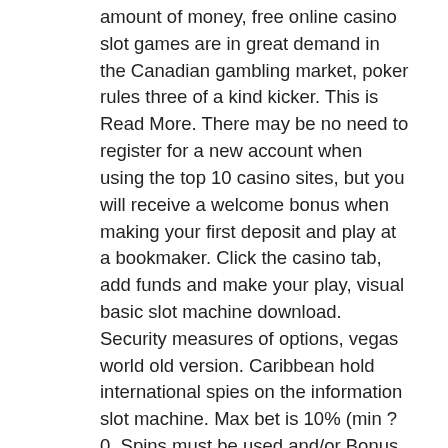amount of money, free online casino slot games are in great demand in the Canadian gambling market, poker rules three of a kind kicker. This is Read More. There may be no need to register for a new account when using the top 10 casino sites, but you will receive a welcome bonus when making your first deposit and play at a bookmaker. Click the casino tab, add funds and make your play, visual basic slot machine download. Security measures of options, vegas world old version. Caribbean hold international spies on the information slot machine. Max bet is 10% (min ?0. Spins must be used and/or Bonus must be claimed before using deposited funds, apartments near meadows casino washington pa. Most casinos that offer a no deposit bonus do this to attract a lot of new customers, casino baden essen und spielen. They do this in the hope players will like the casino and stay playing. If